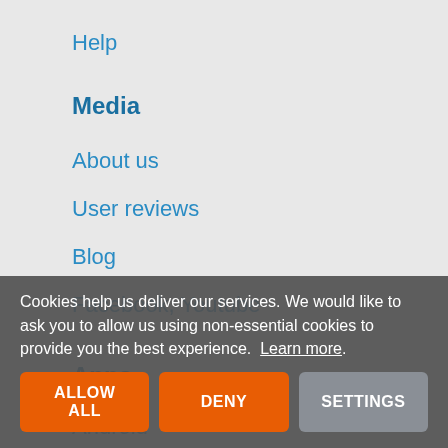Help
Media
About us
User reviews
Blog
Facebook, Youtube
Apps
Android
iPhone, iPad
Windows 10
KaiOS
Rules
Cookies help us deliver our services. We would like to ask you to allow us using non-essential cookies to provide you the best experience. Learn more.